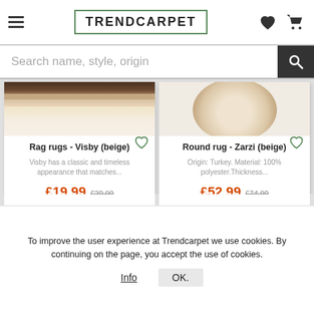TRENDCARPET
Search name, style, origin
[Figure (photo): Product image of Rag rugs - Visby (beige) showing layered beige and brown textile texture]
Rag rugs - Visby (beige)
Visby has a classic and timeless appearance that matches...
£19.99  £20.99
[Figure (photo): Product image of Round rug - Zarzi (beige) showing a round beige/cream rug from above]
Round rug - Zarzi (beige)
Origin: Turkey. Material: 100% polyester.Thickness...
£52.99  £74.99
To improve the user experience at Trendcarpet we use cookies. By continuing on the page, you accept the use of cookies.
Info  OK.